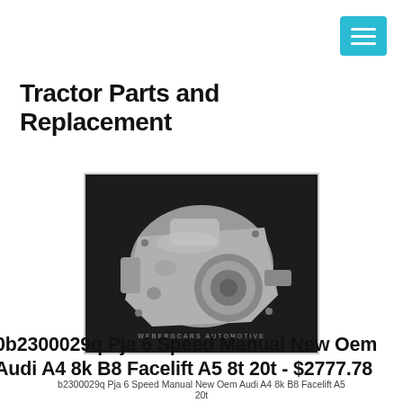[Figure (other): Hamburger menu button icon with three white horizontal lines on a teal/cyan square button, positioned top-right.]
Tractor Parts and Replacement
[Figure (photo): Photo of a used automotive manual transmission/gearbox unit (Audi 6-speed manual, PJA code) placed on a dark surface. The unit is silver/gray metallic. Watermark reading 'WEBERGCARS AUTOMOTIVE' visible at bottom of image.]
0b2300029q Pja 6 Speed Manual New Oem Audi A4 8k B8 Facelift A5 8t 20t - $2777.78
b2300029q Pja 6 Speed Manual New Oem Audi A4 8k B8 Facelift A5 8t 20t